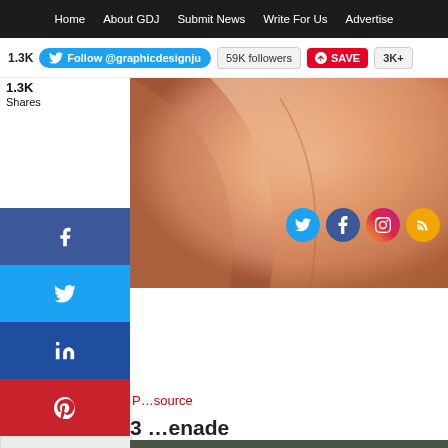Home | About GDJ | Submit News | Write For Us | Advertise
Follow @graphicdesignju  59K followers  SAVE  3K+
1.3K Shares
[Figure (screenshot): Top hero image showing a peach/skin-toned abstract curved surface, with social media icons (Twitter, Facebook, Instagram, RSS) on the right side]
[Figure (screenshot): Side share buttons: Facebook (blue), Twitter (light blue), LinkedIn (dark blue), Pinterest (red), and More (+) button]
source
3. Grenade
[Figure (photo): Dark olive-green background with a metallic grenade mechanism/hardware object photographed from above]